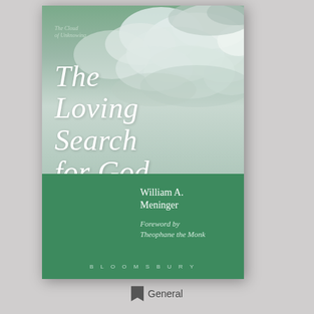[Figure (illustration): Book cover of 'The Loving Search for God' by William A. Meninger. Upper portion shows a cloudy sky in muted green-grey tones with the italic white title text. Lower portion is solid green with the author name and foreword credit. Publisher 'BLOOMSBURY' at the bottom of the cover.]
General